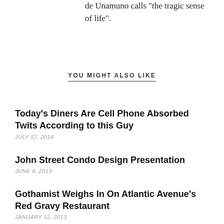de Unamuno calls "the tragic sense of life".
YOU MIGHT ALSO LIKE
Today’s Diners Are Cell Phone Absorbed Twits According to this Guy
JULY 12, 2014
John Street Condo Design Presentation
JUNE 4, 2013
Gothamist Weighs In On Atlantic Avenue’s Red Gravy Restaurant
JANUARY 12, 2013